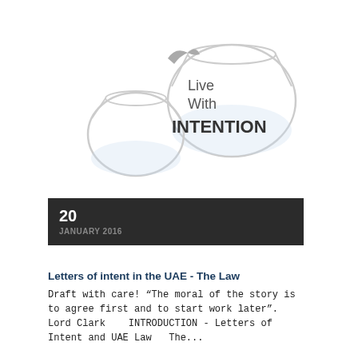[Figure (illustration): Two fishbowls illustration with a fish jumping from small bowl to large bowl, text overlay reading 'Live With INTENTION']
20
JANUARY 2016
Letters of intent in the UAE - The Law
Draft with care!  “The moral of the story is to agree first and to start work later”. Lord Clark    INTRODUCTION - Letters of Intent and UAE Law  The...